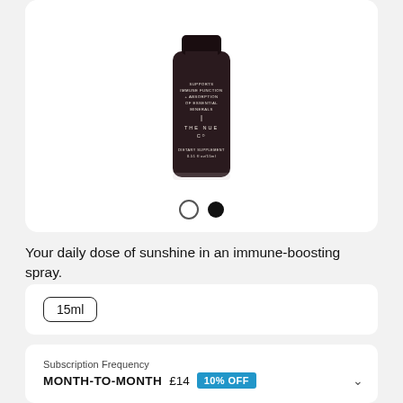[Figure (photo): Dark glass bottle of The Nue Co dietary supplement spray (0.51 fl oz / 15ml), labeled 'Supports Immune Function + Absorption of Essential Minerals'. The bottle is dark brown/black glass with white text.]
Your daily dose of sunshine in an immune-boosting spray.
15ml
Subscription Frequency
MONTH-TO-MONTH  £14  10% OFF